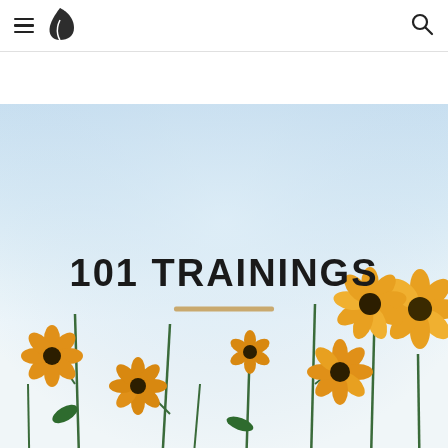[Figure (screenshot): Navigation bar with hamburger menu, green leaf logo, and search icon on white background]
[Figure (photo): Hero section with sky blue background and yellow/orange cosmos flowers in foreground]
101 TRAININGS